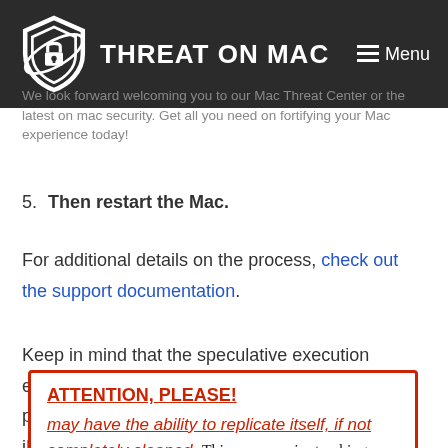THREAT ON MAC | Menu
We look forward welcoming you to our Mac Threat Center or the latest on mac security. Get all you need on fortifying your Mac experience today!
5. Then restart the Mac.
For additional details on the process, check out the support documentation.
Keep in mind that the speculative execution exploits affect Intel CPU architecture only and pose no risk to Apple’s ARM chips in iPads and iPhones.
ATTENTION, PLEASE! may have the ability to replicate itself, if not completely cleaned. This may require tracking